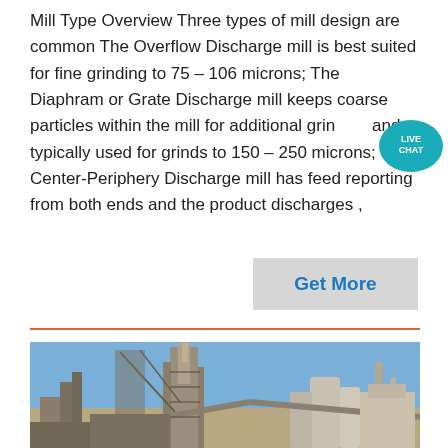Mill Type Overview Three types of mill design are common The Overflow Discharge mill is best suited for fine grinding to 75 – 106 microns; The Diaphram or Grate Discharge mill keeps coarse particles within the mill for additional grinding and typically used for grinds to 150 – 250 microns; The Center-Periphery Discharge mill has feed reporting from both ends and the product discharges ,
[Figure (other): Live Chat bubble badge overlay in teal/blue with text LIVE CHAT]
[Figure (photo): Industrial cement or mineral processing plant with large towers, silos, conveyors and equipment against a blue sky]